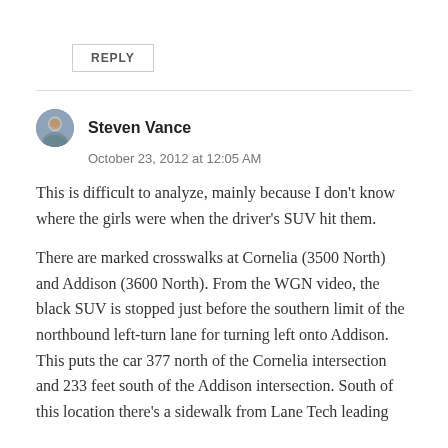REPLY
[Figure (illustration): Avatar photo of Steven Vance, circular crop showing a person outdoors]
Steven Vance
October 23, 2012 at 12:05 AM
This is difficult to analyze, mainly because I don't know where the girls were when the driver's SUV hit them.
There are marked crosswalks at Cornelia (3500 North) and Addison (3600 North). From the WGN video, the black SUV is stopped just before the southern limit of the northbound left-turn lane for turning left onto Addison. This puts the car 377 north of the Cornelia intersection and 233 feet south of the Addison intersection. South of this location there's a sidewalk from Lane Tech leading